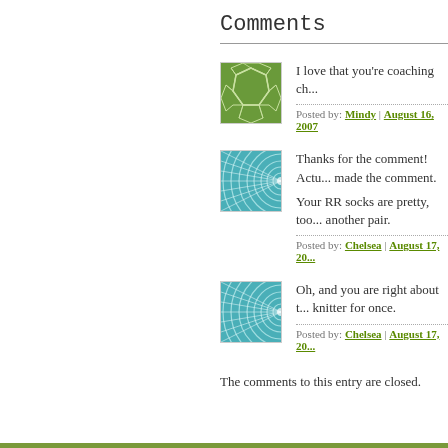Comments
[Figure (illustration): Green avatar with geometric pattern (soccer ball style cells)]
I love that you're coaching ch...
Posted by: Mindy | August 16, 2007
[Figure (illustration): Teal/cyan avatar with radiating curved lines pattern]
Thanks for the comment! Actu... made the comment.
Your RR socks are pretty, too... another pair.
Posted by: Chelsea | August 17, 20...
[Figure (illustration): Teal/cyan avatar with radiating curved lines pattern]
Oh, and you are right about t... knitter for once.
Posted by: Chelsea | August 17, 20...
The comments to this entry are closed.